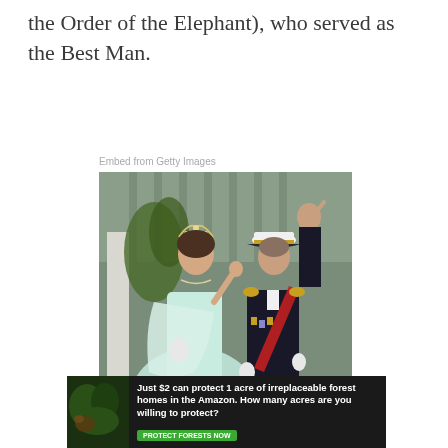the Order of the Elephant), who served as the Best Man.
Embed from Getty Images
[Figure (photo): A woman in a light blue/mint gown wearing a tiara and waving, beside a man in a dark naval uniform with a white cap, red sash and medals, walking on a pink carpet.]
[Figure (infographic): Advertisement banner: 'Just $2 can protect 1 acre of irreplaceable forest homes in the Amazon. How many acres are you willing to protect?' with a green 'PROTECT FORESTS NOW' button and a forest/animal image on the left.]